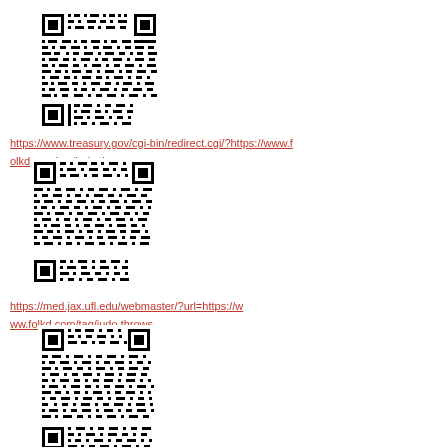[Figure (other): QR code linking to https://www.treasury.gov/cgi-bin/redirect.cgi/?https://www.folkd.com/tag/judo_throws]
https://www.treasury.gov/cgi-bin/redirect.cgi/?https://www.folkd.com/tag/judo throws
[Figure (other): QR code linking to https://med.jax.ufl.edu/webmaster/?url=https://www.folkd.com/tag/judo_throws]
https://med.jax.ufl.edu/webmaster/?url=https://www.folkd.com/tag/judo throws
[Figure (other): Third QR code on page, partially visible]